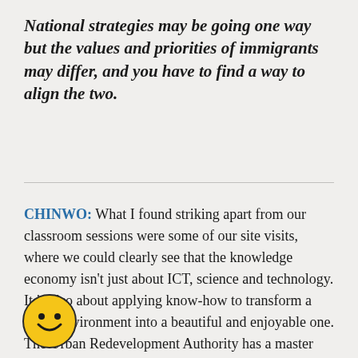National strategies may be going one way but the values and priorities of immigrants may differ, and you have to find a way to align the two.
CHINWO: What I found striking apart from our classroom sessions were some of our site visits, where we could clearly see that the knowledge economy isn't just about ICT, science and technology. It is also about applying know-how to transform a harsh environment into a beautiful and enjoyable one. The Urban Redevelopment Authority has a master plan for Singapore where you can project future developments and ensure that growth follows a sustainable pattern, green spaces are protected and so on. You have your ERP to limit car use but also
[Figure (illustration): Yellow smiley face emoji icon in bottom left corner]